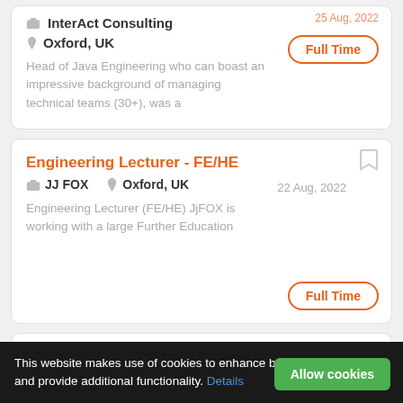InterAct Consulting
Oxford, UK
Full Time
Head of Java Engineering who can boast an impressive background of managing technical teams (30+), was a
Engineering Lecturer - FE/HE
JJ FOX
Oxford, UK
22 Aug, 2022
Full Time
Engineering Lecturer (FE/HE) JjFOX is working with a large Further Education
Engineering Manager
Sutton, Whitley OX29 6RG, UK
This website makes use of cookies to enhance browsing experience and provide additional functionality. Details
Allow cookies